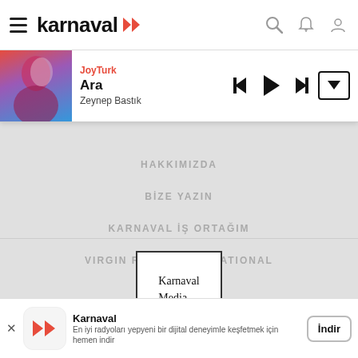[Figure (screenshot): Karnaval app top navigation bar with hamburger menu, Karnaval logo with red double-play icon, search, notification, and profile icons]
[Figure (screenshot): Music player bar showing JoyTurk station, song 'Ara' by Zeynep Bastık, with previous, play, next controls and a down-arrow button, and album art thumbnail]
HAKKIMIZDA
BİZE YAZIN
KARNAVAL İŞ ORTAĞIM
VIRGIN RADIO INTERNATIONAL
[Figure (logo): Karnaval Media Group logo in a black-bordered rectangle]
[Figure (screenshot): App download banner: Karnaval app icon (red double-play on white rounded square), text 'Karnaval - En iyi radyoları yepyeni bir dijital deneyimle keşfetmek için hemen indir', and 'İndir' button]